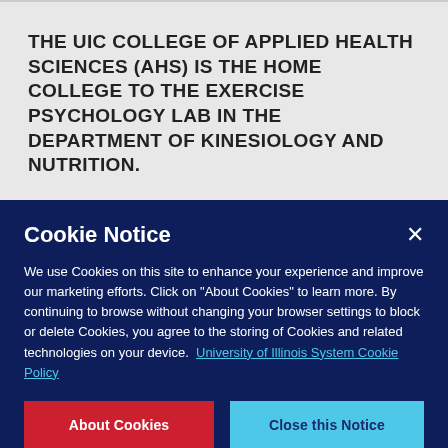THE UIC COLLEGE OF APPLIED HEALTH SCIENCES (AHS) IS THE HOME COLLEGE TO THE EXERCISE PSYCHOLOGY LAB IN THE DEPARTMENT OF KINESIOLOGY AND NUTRITION.
UIC.edu  Academic Calendar  Athletics  Campus Directory
Cookie Notice
We use Cookies on this site to enhance your experience and improve our marketing efforts. Click on "About Cookies" to learn more. By continuing to browse without changing your browser settings to block or delete Cookies, you agree to the storing of Cookies and related technologies on your device.  University of Illinois System Cookie Policy